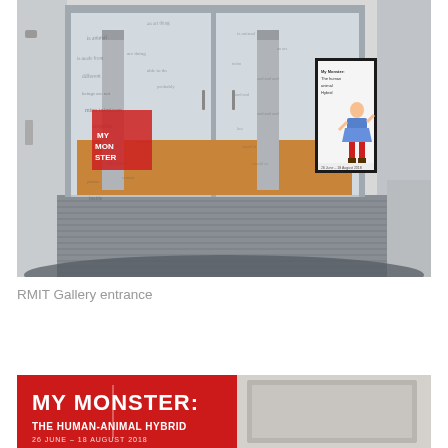[Figure (photo): RMIT Gallery entrance showing glass doors with text overlaid, interior with columns and orange flooring, and a framed exhibition poster on the right showing a figure in a blue skirt and red stockings with text 'My Monster: The Human Animal Hybrid']
RMIT Gallery entrance
[Figure (photo): Close-up of a red exhibition banner reading 'MY MONSTER: THE HUMAN-ANIMAL HYBRID' with date '26 JUNE - 18 AUGUST 2018' mounted on a grey wall next to a framed panel]